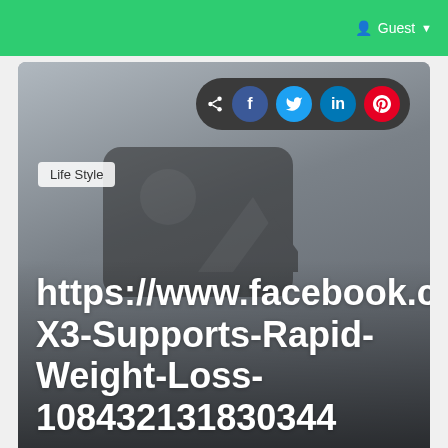Guest
[Figure (screenshot): Social share bar with share icon and social media buttons: Facebook (blue), Twitter (blue), LinkedIn (blue), Pinterest (red)]
Life Style
[Figure (illustration): Grey placeholder image thumbnail with a person and mountain silhouette icon]
https://www.facebook.com/Keto-X3-Supports-Rapid-Weight-Loss-108432131830344